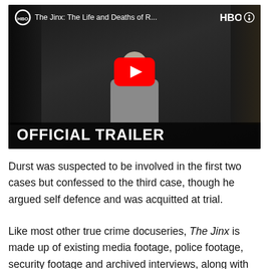[Figure (screenshot): YouTube video thumbnail for 'The Jinx: The Life and Deaths of R...' on HBO. Shows an elderly person seated in a grey sweater against a dark background. Red YouTube play button in center. Text at bottom reads 'OFFICIAL TRAILER'. HBO logo and video title visible at top.]
Durst was suspected to be involved in the first two cases but confessed to the third case, though he argued self defence and was acquitted at trial.
Like most other true crime docuseries, The Jinx is made up of existing media footage, police footage, security footage and archived interviews, along with